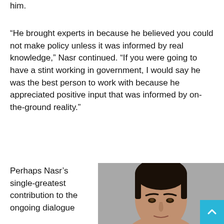him.
“He brought experts in because he believed you could not make policy unless it was informed by real knowledge,” Nasr continued. “If you were going to have a stint working in government, I would say he was the best person to work with because he appreciated positive input that was informed by on-the-ground reality.”
Perhaps Nasr’s single-greatest contribution to the ongoing dialogue
[Figure (photo): Portrait photo of a man (Nasr) with dark hair, close-up face shot against a gray background]